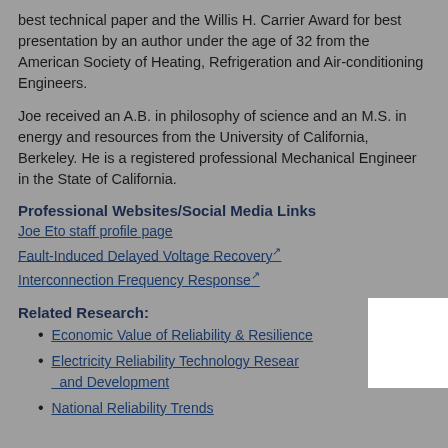best technical paper and the Willis H. Carrier Award for best presentation by an author under the age of 32 from the American Society of Heating, Refrigeration and Air-conditioning Engineers.
Joe received an A.B. in philosophy of science and an M.S. in energy and resources from the University of California, Berkeley. He is a registered professional Mechanical Engineer in the State of California.
Professional Websites/Social Media Links
Joe Eto staff profile page
Fault-Induced Delayed Voltage Recovery
Interconnection Frequency Response
Related Research:
Economic Value of Reliability & Resilience
Electricity Reliability Technology Research and Development
National Reliability Trends